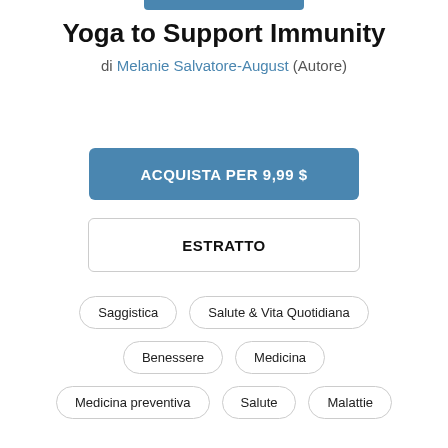Yoga to Support Immunity
di Melanie Salvatore-August (Autore)
ACQUISTA PER 9,99 $
ESTRATTO
Saggistica
Salute & Vita Quotidiana
Benessere
Medicina
Medicina preventiva
Salute
Malattie